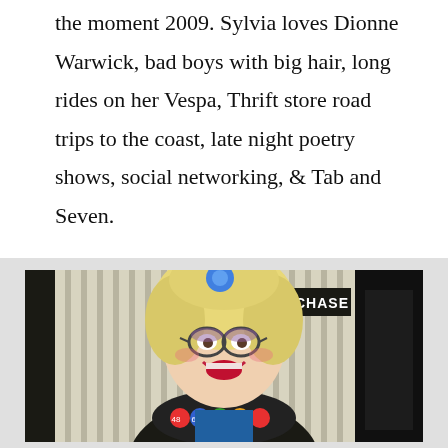the moment 2009. Sylvia loves Dionne Warwick, bad boys with big hair, long rides on her Vespa, Thrift store road trips to the coast, late night poetry shows, social networking, & Tab and Seven.
[Figure (photo): A person in drag costume wearing a blonde wig with a blue flower accessory, glasses, and a colorful bingo-themed outfit with numbered dots, smiling widely in front of a Chase bank storefront with vertical slat wall panels visible in the background.]